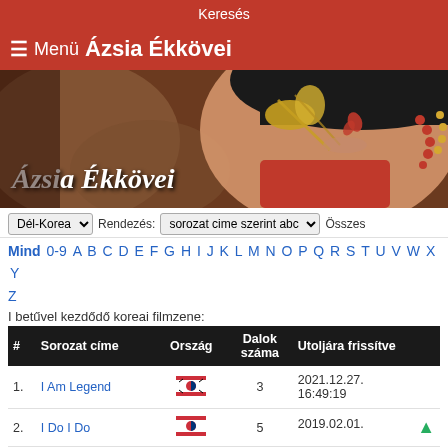Keresés
≡ Menü  Ázsia Ékkövei
[Figure (illustration): Banner image showing a woman in traditional Asian costume with golden hair ornaments and red dress. Text overlay reads 'Ázsia Ékkövei' in white italic script.]
Dél-Korea ▾  Rendezés: sorozat cime szerint abc ▾  Összes
Mind 0-9 A B C D E F G H I J K L M N O P Q R S T U V W X Y Z
I betűvel kezdődő koreai filmzene:
| # | Sorozat címe | Ország | Dalok száma | Utoljára frissítve |
| --- | --- | --- | --- | --- |
| 1. | I Am Legend | 🇰🇷 | 3 | 2021.12.27. 16:49:19 |
| 2. | I Do I Do | 🇰🇷 | 5 | 2019.02.01. |